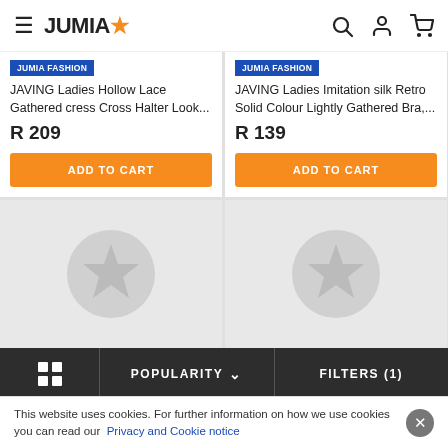JUMIA
[Figure (screenshot): Jumia fashion badge label on product 1]
JAVING Ladies Hollow Lace Gathered cress Cross Halter Look...
R 209
ADD TO CART
[Figure (screenshot): Jumia fashion badge label on product 2]
JAVING Ladies Imitation silk Retro Solid Colour Lightly Gathered Bra,...
R 139
ADD TO CART
[Figure (illustration): Placeholder product image with Jumia star logo circle]
[Figure (illustration): Placeholder product image with Jumia star logo circle]
POPULARITY  FILTERS (1)
This website uses cookies. For further information on how we use cookies you can read our Privacy and Cookie notice